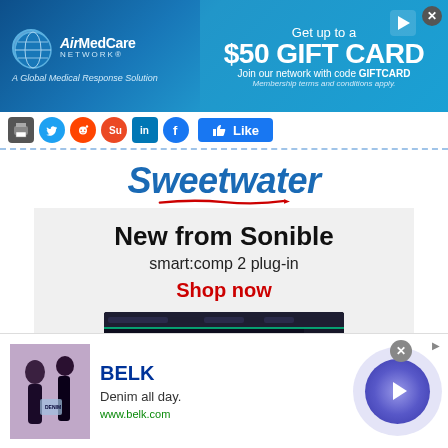[Figure (infographic): AirMedCare Network banner ad. Left: globe logo and 'AirMedCare NETWORK - A Global Medical Response Solution'. Right: 'Get up to a $50 GIFT CARD - Join our network with code GIFTCARD - Membership terms and conditions apply.']
[Figure (infographic): Social share bar with print, Twitter, Reddit, StumbleUpon, LinkedIn, Facebook icons, and a Facebook Like button]
[Figure (infographic): Sweetwater logo in blue italic bold text with red underline swoosh]
[Figure (screenshot): Sweetwater ad: 'New from Sonible - smart:comp 2 plug-in - Shop now' with screenshot of a dark audio plugin interface]
[Figure (infographic): BELK advertisement at bottom: image of women in denim, BELK logo in blue, 'Denim all day.', 'www.belk.com', circular arrow button, close and adchoices markers]